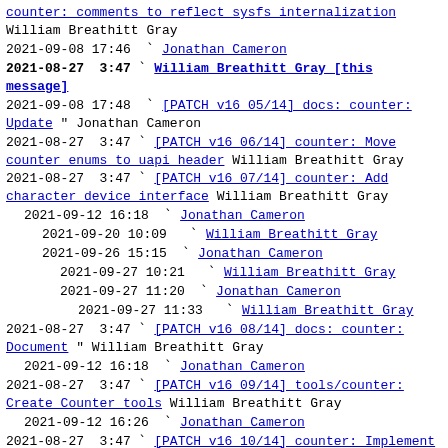[counter: comments to reflect sysfs internalization] William Breathitt Gray 2021-09-08 17:46 Jonathan Cameron
2021-08-27 3:47 William Breathitt Gray [this message]
2021-09-08 17:48 [PATCH v16 05/14] docs: counter: Update " Jonathan Cameron
2021-08-27 3:47 [PATCH v16 06/14] counter: Move counter enums to uapi header William Breathitt Gray
2021-08-27 3:47 [PATCH v16 07/14] counter: Add character device interface William Breathitt Gray
2021-09-12 16:18 Jonathan Cameron
2021-09-20 10:09 William Breathitt Gray
2021-09-26 15:15 Jonathan Cameron
2021-09-27 10:21 William Breathitt Gray
2021-09-27 11:20 Jonathan Cameron
2021-09-27 11:33 William Breathitt Gray
2021-08-27 3:47 [PATCH v16 08/14] docs: counter: Document " William Breathitt Gray
2021-09-12 16:18 Jonathan Cameron
2021-08-27 3:47 [PATCH v16 09/14] tools/counter: Create Counter tools William Breathitt Gray
2021-09-12 16:26 Jonathan Cameron
2021-08-27 3:47 [PATCH v16 10/14] counter: Implement signalZ action component id sysfs attribute William Breathitt Gray
2021-08-27 3:47 [PATCH v16 11/14] counter: Implement * component id sysfs attributes William Breathitt Gray
2021-08-27 3:47 [PATCH v16 12/14] counter: Implement events queue size sysfs attribute William Breathitt Gray